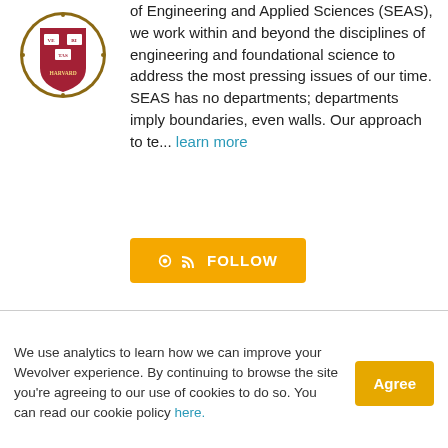[Figure (logo): Harvard University shield/crest logo in red and gold]
of Engineering and Applied Sciences (SEAS), we work within and beyond the disciplines of engineering and foundational science to address the most pressing issues of our time. SEAS has no departments; departments imply boundaries, even walls. Our approach to te… learn more
FOLLOW
We use analytics to learn how we can improve your Wevolver experience. By continuing to browse the site you're agreeing to our use of cookies to do so. You can read our cookie policy here.